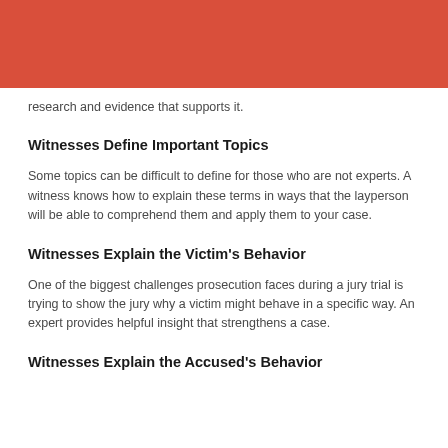research and evidence that supports it.
Witnesses Define Important Topics
Some topics can be difficult to define for those who are not experts. A witness knows how to explain these terms in ways that the layperson will be able to comprehend them and apply them to your case.
Witnesses Explain the Victim's Behavior
One of the biggest challenges prosecution faces during a jury trial is trying to show the jury why a victim might behave in a specific way. An expert provides helpful insight that strengthens a case.
Witnesses Explain the Accused's Behavior